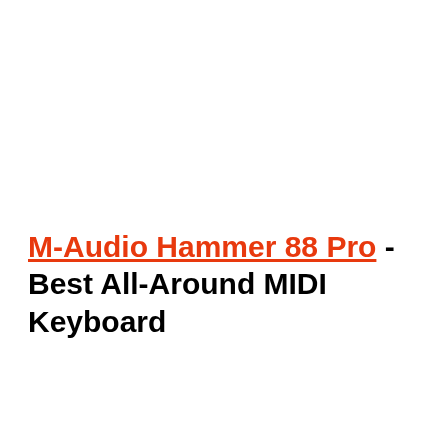M-Audio Hammer 88 Pro - Best All-Around MIDI Keyboard